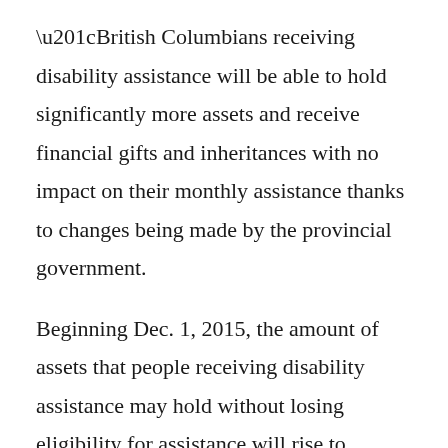“British Columbians receiving disability assistance will be able to hold significantly more assets and receive financial gifts and inheritances with no impact on their monthly assistance thanks to changes being made by the provincial government.
Beginning Dec. 1, 2015, the amount of assets that people receiving disability assistance may hold without losing eligibility for assistance will rise to $100,000 for an individual with the Persons with Disabilities (PWD) designation, and $200,000 for a couple where both have PWD designation. Currently, the asset limits are